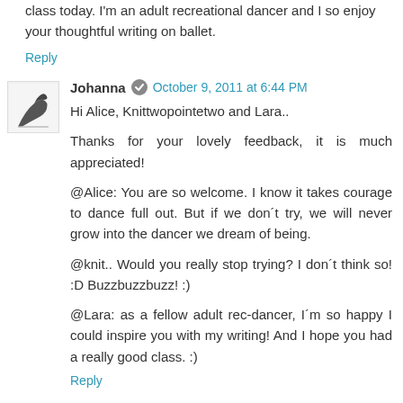class today. I'm an adult recreational dancer and I so enjoy your thoughtful writing on ballet.
Reply
Johanna  October 9, 2011 at 6:44 PM
Hi Alice, Knittwopointetwo and Lara..

Thanks for your lovely feedback, it is much appreciated!

@Alice: You are so welcome. I know it takes courage to dance full out. But if we don´t try, we will never grow into the dancer we dream of being.

@knit.. Would you really stop trying? I don´t think so! :D Buzzbuzzbuzz! :)

@Lara: as a fellow adult rec-dancer, I´m so happy I could inspire you with my writing! And I hope you had a really good class. :)
Reply